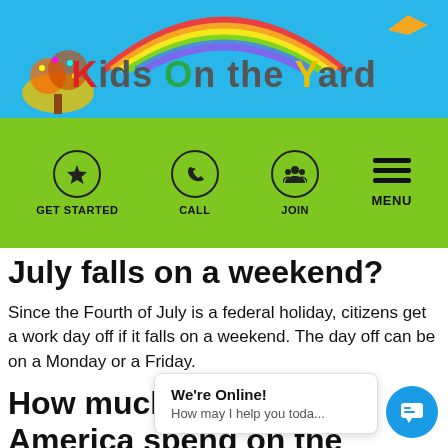[Figure (logo): Kids on the Yard website header with logo, rainbow arc, tree illustration, and sky-blue background]
[Figure (infographic): Green navigation bar with GET STARTED (star icon), CALL (phone icon), JOIN (group icon), and MENU (hamburger) buttons]
July falls on a weekend?
Since the Fourth of July is a federal holiday, citizens get a work day off if it falls on a weekend. The day off can be on a Monday or a Friday.
How much money does America spend on the Fourth of July fireworks?
Americans spend abo...ks annually, with people using over 275 pounds of